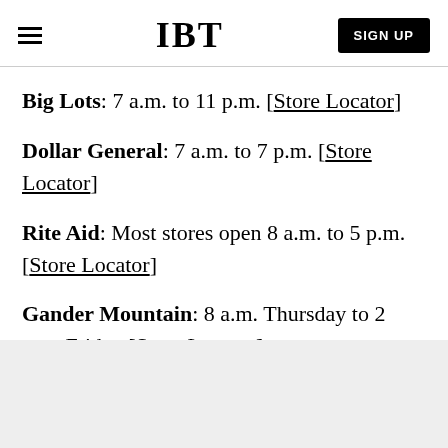IBT | SIGN UP
Big Lots: 7 a.m. to 11 p.m. [Store Locator]
Dollar General: 7 a.m. to 7 p.m. [Store Locator]
Rite Aid: Most stores open 8 a.m. to 5 p.m. [Store Locator]
Gander Mountain: 8 a.m. Thursday to 2 a.m. Friday [Store Locator]